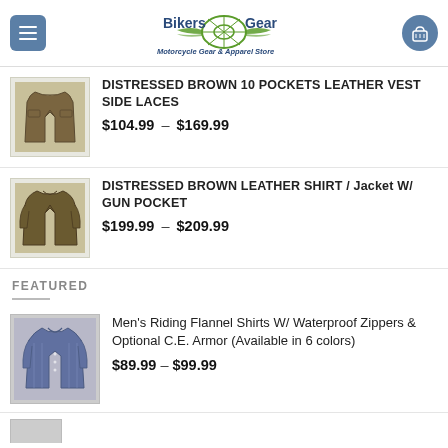Bikers Gear — Motorcycle Gear & Apparel Store
DISTRESSED BROWN 10 POCKETS LEATHER VEST SIDE LACES
$104.99 – $169.99
DISTRESSED BROWN LEATHER SHIRT / Jacket W/ GUN POCKET
$199.99 – $209.99
FEATURED
Men's Riding Flannel Shirts W/ Waterproof Zippers & Optional C.E. Armor (Available in 6 colors)
$89.99 – $99.99
(partial item visible at bottom)